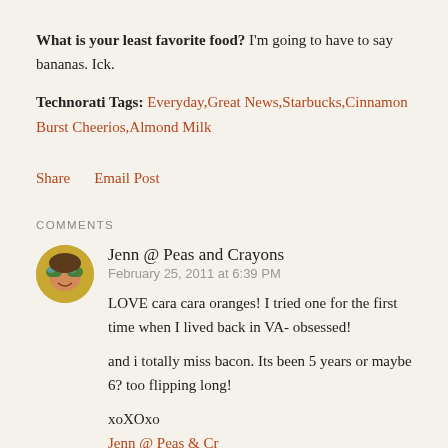What is your least favorite food? I'm going to have to say bananas. Ick.
Technorati Tags: Everyday,Great News,Starbucks,Cinnamon Burst Cheerios,Almond Milk
Share   Email Post
COMMENTS
Jenn @ Peas and Crayons
February 25, 2011 at 6:39 PM

LOVE cara cara oranges! I tried one for the first time when I lived back in VA- obsessed!

and i totally miss bacon. Its been 5 years or maybe 6? too flipping long!

xoXOxo
Jenn @ Peas & Crayons